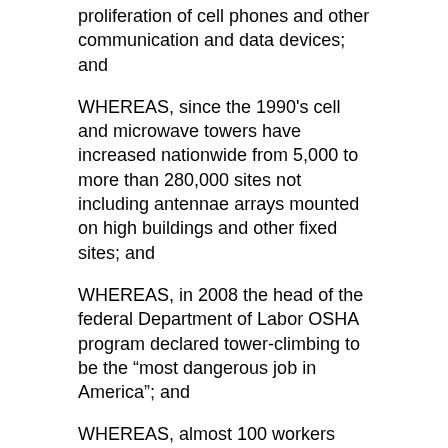proliferation of cell phones and other communication and data devices; and
WHEREAS, since the 1990's cell and microwave towers have increased nationwide from 5,000 to more than 280,000 sites not including antennae arrays mounted on high buildings and other fixed sites; and
WHEREAS, in 2008 the head of the federal Department of Labor OSHA program declared tower-climbing to be the “most dangerous job in America”; and
WHEREAS, almost 100 workers died between 2003 and 2011 on communication towers; and
WHEREAS, communication tower workers and those who work on antennae arrays are exposed to potentially hazardous radio frequencies; and
WHEREAS, multiple safety exposures to workers from falls, microwaves, electrocution, horizontal drilling,